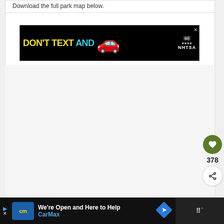Download the full park map below.
[Figure (screenshot): Advertisement banner: black background with yellow text 'DON'T TEXT AND' in cyan/yellow, a red cartoon car emoji, and NHTSA logo with ad badge and close button.]
[Figure (screenshot): Bottom advertisement bar: CarMax 'We're Open and Here to Help' ad with blue CarMax logo, navigation diamond icon, and app controls.]